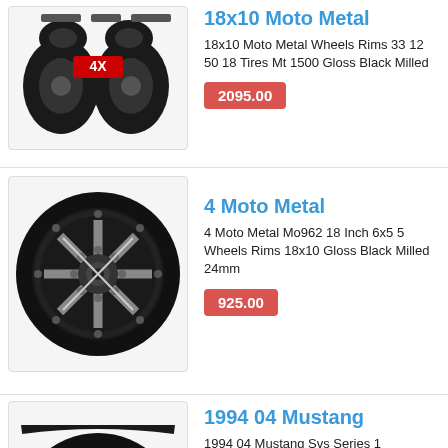[Figure (photo): 4 black off-road tires with wheels and hardware, labeled 4X]
18x10 Moto Metal
18x10 Moto Metal Wheels Rims 33 12 50 18 Tires Mt 1500 Gloss Black Milled
2095.00
[Figure (photo): Single black milled alloy wheel rim (Moto Metal Mo962)]
4 Moto Metal
4 Moto Metal Mo962 18 Inch 6x5 5 Wheels Rims 18x10 Gloss Black Milled 24mm
925.00
[Figure (photo): Black spoke wheel/tire (1994 04 Mustang product)]
1994 04 Mustang
1994 04 Mustang Svs Series 1